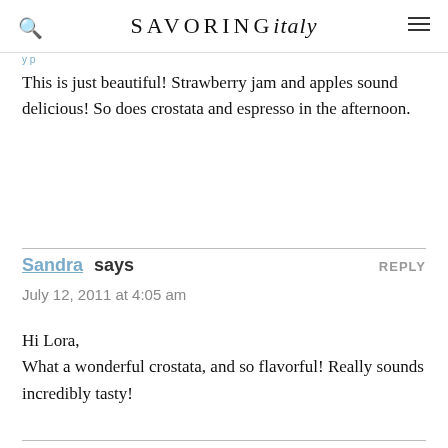SAVORING italy
This is just beautiful! Strawberry jam and apples sound delicious! So does crostata and espresso in the afternoon.
Sandra says
July 12, 2011 at 4:05 am

Hi Lora,
What a wonderful crostata, and so flavorful! Really sounds incredibly tasty!